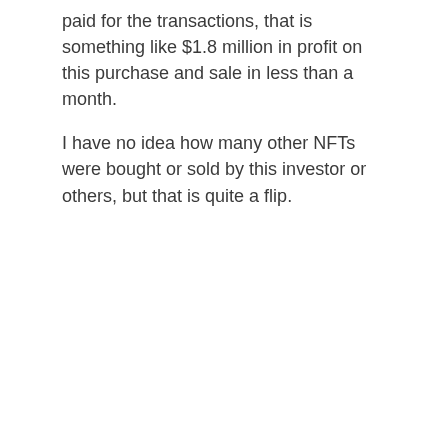paid for the transactions, that is something like $1.8 million in profit on this purchase and sale in less than a month.
I have no idea how many other NFTs were bought or sold by this investor or others, but that is quite a flip.